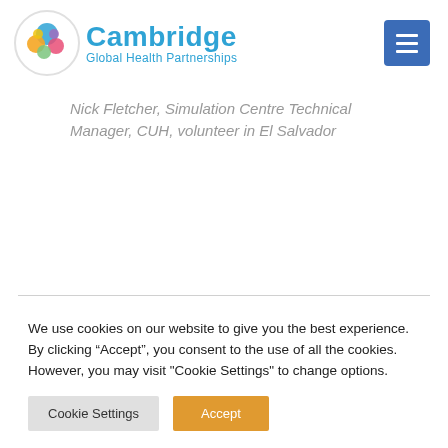[Figure (logo): Cambridge Global Health Partnerships logo with colorful circle icon and blue text, plus a blue hamburger menu button on the right]
Nick Fletcher, Simulation Centre Technical Manager, CUH, volunteer in El Salvador
We use cookies on our website to give you the best experience. By clicking “Accept”, you consent to the use of all the cookies. However, you may visit "Cookie Settings" to change options.